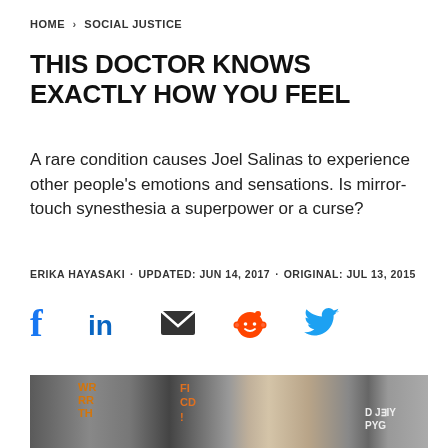HOME > SOCIAL JUSTICE
THIS DOCTOR KNOWS EXACTLY HOW YOU FEEL
A rare condition causes Joel Salinas to experience other people's emotions and sensations. Is mirror-touch synesthesia a superpower or a curse?
ERIKA HAYASAKI · UPDATED: JUN 14, 2017 · ORIGINAL: JUL 13, 2015
[Figure (infographic): Social media sharing icons: Facebook (f), LinkedIn (in), Email (envelope), Reddit (alien), Twitter (bird)]
[Figure (photo): A bald young man in a white shirt looking upward, photographed against a background of glass doors/windows with partial signage visible including 'YIELD' text reversed]